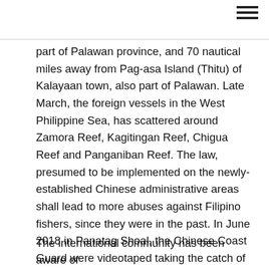☰
part of Palawan province, and 70 nautical miles away from Pag-asa Island (Thitu) of Kalayaan town, also part of Palawan. Late March, the foreign vessels in the West Philippine Sea, has scattered around Zamora Reef, Kagitingan Reef, Chigua Reef and Panganiban Reef. The law, presumed to be implemented on the newly-established Chinese administrative areas shall lead to more abuses against Filipino fishers, since they were in the past. In June 2018 in Panatag Shoal, the Chinese Coast Guard were videotaped taking the catch of Filipino fishers. Pamalakaya also asserts that its presence enabled the audacious ramming of the F/B Gem-ver 1 by the Chinese fishing militia vessel Yuemaobinyu 42212 in June 2019.
The international community has been aware of